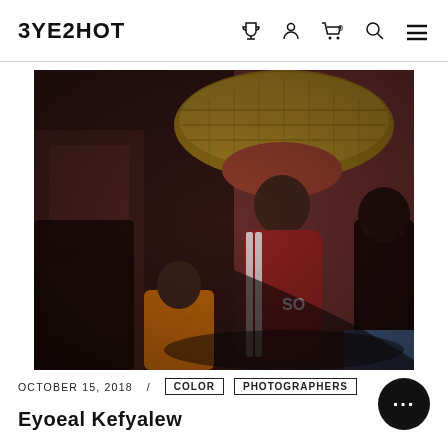EYESHOT
[Figure (photo): Street photograph showing a person in a red tracksuit carrying a large woven basket on their head, surrounded by other people against a pink/dark wall background. Dark, moody color street photography.]
OCTOBER 15, 2018 / COLOR PHOTOGRAPHERS
Eyoeal Kefyalew